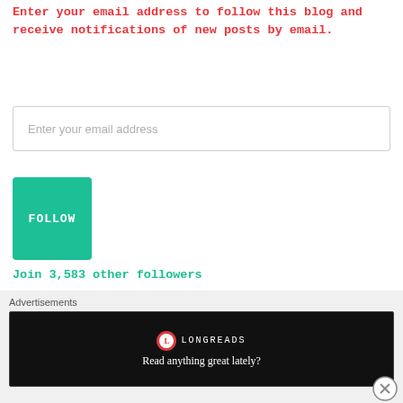Enter your email address to follow this blog and receive notifications of new posts by email.
Enter your email address
FOLLOW
Join 3,583 other followers
FOLLOW MY BLOG
RSS - Posts
Advertisements
[Figure (screenshot): Longreads advertisement banner with text 'Read anything great lately?' on dark background]
[Figure (other): Close/dismiss button (X in circle)]